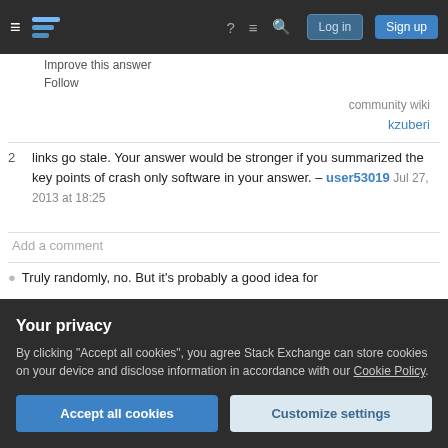Stack Exchange navigation bar with Log in and Sign up buttons
Improve this answer
Follow
community wiki
kzuberi
2  links go stale. Your answer would be stronger if you summarized the key points of crash only software in your answer. – user53019 Jul 27, 2013 at 18:25
Add a comment
Truly randomly, no. But it's probably a good idea for
Your privacy
By clicking "Accept all cookies", you agree Stack Exchange can store cookies on your device and disclose information in accordance with our Cookie Policy.
Accept all cookies
Customize settings